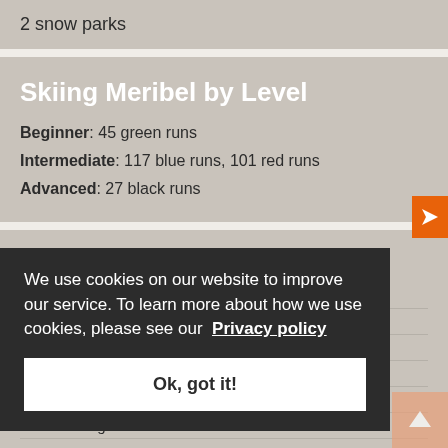2 snow parks
Skiing Meribel by Level
Beginner: 45 green runs
Intermediate: 117 blue runs, 101 red runs
Advanced: 27 black runs
Off-Piste Activities in Meribel
Picturesque Walks
Shopping
Movies
Bowling
Pampering
Wine Tasting
We use cookies on our website to improve our service. To learn more about how we use cookies, please see our Privacy policy
Ok, got it!